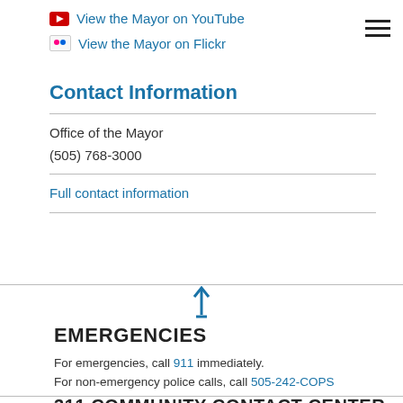View the Mayor on YouTube
View the Mayor on Flickr
Contact Information
Office of the Mayor
(505) 768-3000
Full contact information
EMERGENCIES
For emergencies, call 911 immediately.
For non-emergency police calls, call 505-242-COPS
311 COMMUNITY CONTACT CENTER